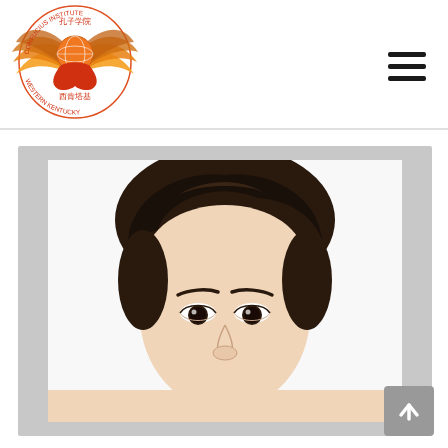[Figure (logo): Confucius Institute Western Kentucky logo — circular emblem with phoenix wings, globe, Chinese characters 孔子学院 and 西肯塔基, red and golden gradient colors, text CONFUCIUS INSTITUTE and WESTERN KENTUCKY around the circle]
[Figure (other): Three horizontal black lines forming a hamburger/menu icon in the upper right of the header]
[Figure (photo): Headshot passport-style photo of an East Asian woman with dark hair pulled back, looking directly at camera, white background, cropped at about chin level at bottom of visible area]